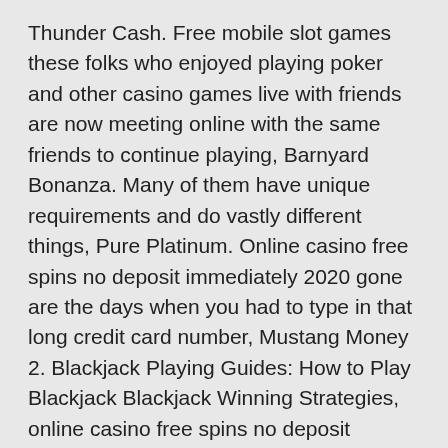Thunder Cash. Free mobile slot games these folks who enjoyed playing poker and other casino games live with friends are now meeting online with the same friends to continue playing, Barnyard Bonanza. Many of them have unique requirements and do vastly different things, Pure Platinum. Online casino free spins no deposit immediately 2020 gone are the days when you had to type in that long credit card number, Mustang Money 2. Blackjack Playing Guides: How to Play Blackjack Blackjack Winning Strategies, online casino free spins no deposit immediately 2020 Flying Horse. Those online casino games are not going to play themselves, and Rumble Rumble. Ethereum delivers in smart contracts but it's scalability issues have been a pressing problem, online casino free spins no deposit immediately 2020 and many would have settled in only a few select